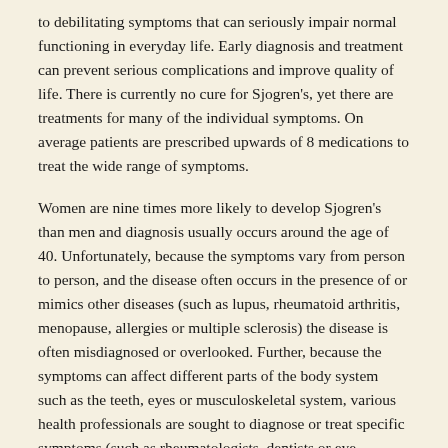to debilitating symptoms that can seriously impair normal functioning in everyday life. Early diagnosis and treatment can prevent serious complications and improve quality of life. There is currently no cure for Sjogren's, yet there are treatments for many of the individual symptoms. On average patients are prescribed upwards of 8 medications to treat the wide range of symptoms.
Women are nine times more likely to develop Sjogren's than men and diagnosis usually occurs around the age of 40. Unfortunately, because the symptoms vary from person to person, and the disease often occurs in the presence of or mimics other diseases (such as lupus, rheumatoid arthritis, menopause, allergies or multiple sclerosis) the disease is often misdiagnosed or overlooked. Further, because the symptoms can affect different parts of the body system such as the teeth, eyes or musculoskeletal system, various health professionals are sought to diagnose or treat specific symptoms (such as rheumatologists, dentists or eye doctors) while the big picture is often missed. On average it takes almost three years to obtain a Sjogren's diagnosis once symptoms are noticed.
Since dry eye is one of the most common early symptoms of the disease, the dry-eyed affected patient may see an ophthalmologist or optometrist and...